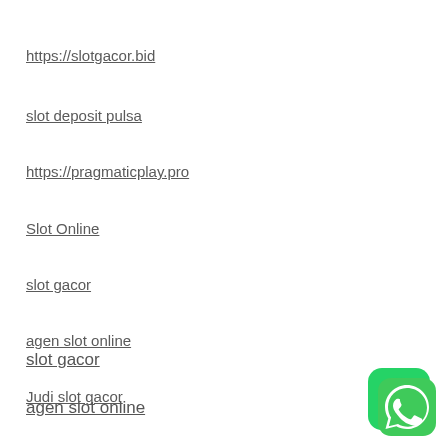https://slotgacor.bid
slot deposit pulsa
https://pragmaticplay.pro
Slot Online
slot gacor
agen slot online
Judi slot gacor
[Figure (illustration): WhatsApp icon — green rounded square with white phone handset inside speech bubble logo]